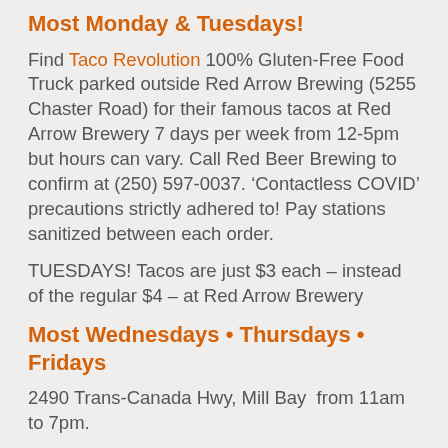Most Monday & Tuesdays!
Find Taco Revolution 100% Gluten-Free Food Truck parked outside Red Arrow Brewing (5255 Chaster Road) for their famous tacos at Red Arrow Brewery 7 days per week from 12-5pm but hours can vary. Call Red Beer Brewing to confirm at (250) 597-0037. ‘Contactless COVID’ precautions strictly adhered to! Pay stations sanitized between each order.
TUESDAYS! Tacos are just $3 each – instead of the regular $4 – at Red Arrow Brewery
Most Wednesdays • Thursdays • Fridays
2490 Trans-Canada Hwy, Mill Bay  from 11am to 7pm.
NEW! Taco Revolution 100% Gluten-Free Food Truck Now Delivers – through Door Dash! See